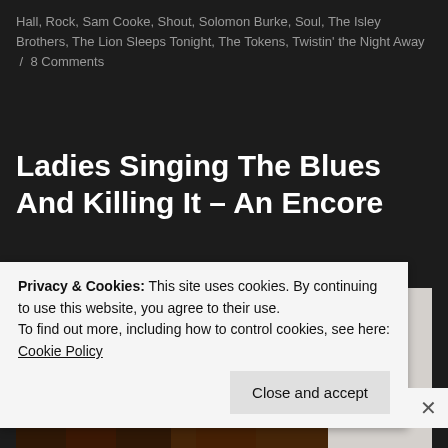Hall, Rock, Sam Cooke, Shout, Solomon Burke, Soul, The Isley Brothers, The Lion Sleeps Tonight, The Tokens, Twistin' the Night Away / 8 Comments
Ladies Singing The Blues And Killing It – An Encore
[Figure (photo): Two women performing music on stage, overlaid with a separate photo of a woman holding a guitar against a light background]
Privacy & Cookies: This site uses cookies. By continuing to use this website, you agree to their use.
To find out more, including how to control cookies, see here:
Cookie Policy
Close and accept